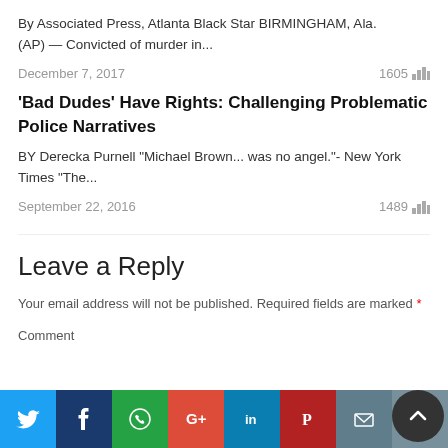By Associated Press, Atlanta Black Star BIRMINGHAM, Ala. (AP) — Convicted of murder in...
December 7, 2017    1605
'Bad Dudes' Have Rights: Challenging Problematic Police Narratives
BY Derecka Purnell "Michael Brown... was no angel."- New York Times "The...
September 22, 2016    1489
Leave a Reply
Your email address will not be published. Required fields are marked *
Comment